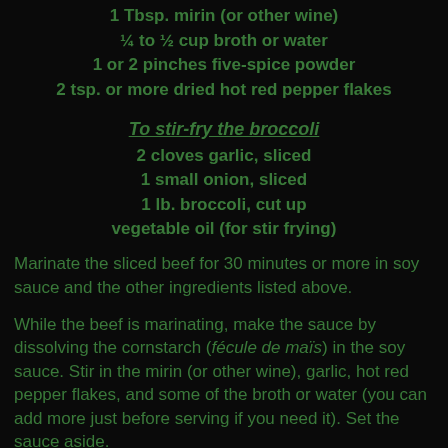1 Tbsp. mirin (or other wine)
¼ to ½ cup broth or water
1 or 2 pinches five-spice powder
2 tsp. or more dried hot red pepper flakes
To stir-fry the broccoli
2 cloves garlic, sliced
1 small onion, sliced
1 lb. broccoli, cut up
vegetable oil (for stir frying)
Marinate the sliced beef for 30 minutes or more in soy sauce and the other ingredients listed above.
While the beef is marinating, make the sauce by dissolving the cornstarch (fécule de maïs) in the soy sauce. Stir in the mirin (or other wine), garlic, hot red pepper flakes, and some of the broth or water (you can add more just before serving if you need it). Set the sauce aside.
Heat a wok or large heavy skillet over high heat, pour in some vegetable oil, and heat it until it just begins to smoke